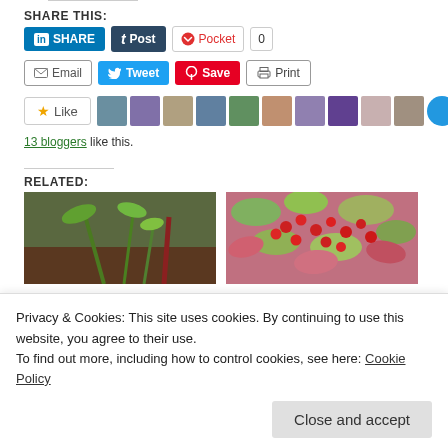SHARE THIS:
[Figure (screenshot): Social sharing buttons row 1: LinkedIn Share, Tumblr Post, Pocket with count 0]
[Figure (screenshot): Social sharing buttons row 2: Email, Tweet, Pinterest Save, Print]
[Figure (screenshot): Like button with star icon and row of 11 blogger avatar thumbnails]
13 bloggers like this.
RELATED:
[Figure (photo): Green plant sprouts in soil]
[Figure (photo): Red berries on a bush with pink and green leaves]
Privacy & Cookies: This site uses cookies. By continuing to use this website, you agree to their use.
To find out more, including how to control cookies, see here: Cookie Policy
Close and accept